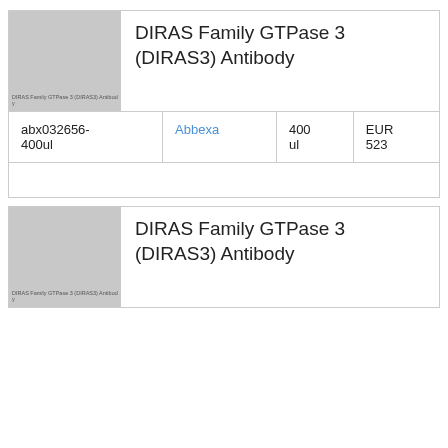[Figure (photo): Gray placeholder image for DIRAS Family GTPase 3 (DIRAS3) Antibody product, with small label text overlay]
DIRAS Family GTPase 3 (DIRAS3) Antibody
| abx032656-400ul | Abbexa | 400 ul | EUR 523 |
[Figure (photo): Gray placeholder image for second DIRAS Family GTPase 3 (DIRAS3) Antibody product listing, with small label text overlay]
DIRAS Family GTPase 3 (DIRAS3) Antibody